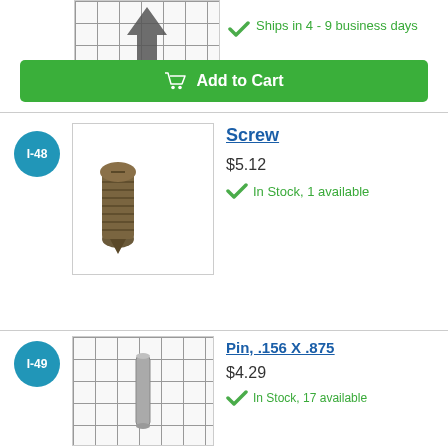[Figure (photo): Partial view of a product image on grid background, top item cut off]
Ships in 4 - 9 business days
Add to Cart
I-48
[Figure (photo): A screw with pan head and coarse threading, photographed on white background]
Screw
$5.12
In Stock, 1 available
Add to Cart
I-49
[Figure (photo): A pin (Pin, .156 X .875) on a grid background]
Pin, .156 X .875
$4.29
In Stock, 17 available